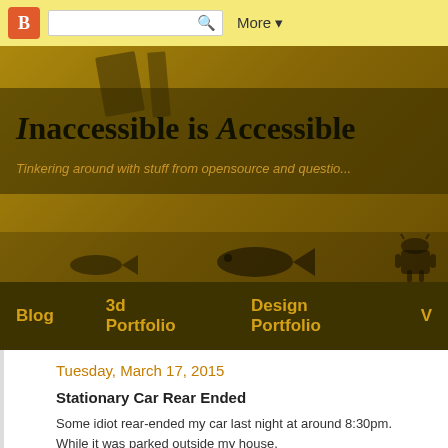Blogger toolbar with search and More button
[Figure (screenshot): Blog header banner with golden/yellow background and silhouette decorations of fish and Android robot]
Inaccessible is Accessible
Tinkering around with stuff from opensource and questio...
Blog   3d Portfolio   Design Portfolio   V...
Tuesday, March 17, 2015
Stationary Car Rear Ended
Some idiot rear-ended my car last night at around 8:30pm.
While it was parked outside my house.
The fool just drove off.. even though a bunch of people saw it happen!